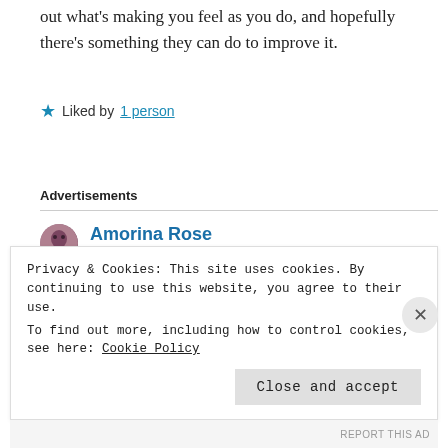out what's making you feel as you do, and hopefully there's something they can do to improve it.
Liked by 1 person
Advertisements
Amorina Rose
February 27, 2022 at 11:08 am
Privacy & Cookies: This site uses cookies. By continuing to use this website, you agree to their use.
To find out more, including how to control cookies, see here: Cookie Policy
Close and accept